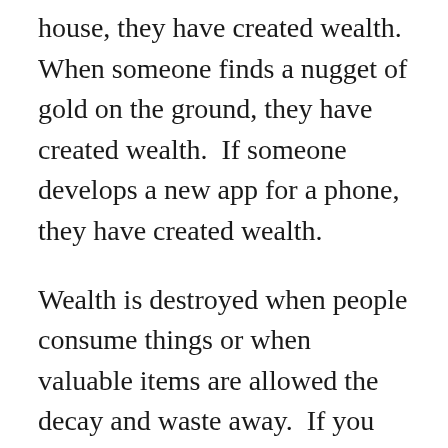house, they have created wealth.  When someone finds a nugget of gold on the ground, they have created wealth.  If someone develops a new app for a phone, they have created wealth.
Wealth is destroyed when people consume things or when valuable items are allowed the decay and waste away.  If you eat a hamburger, steal a phone app, or let your car run out of oil and seize up the engine, you have destroyed wealth.  Virtually every form of wealth will waste away with time.  An example of an exception is a piece of land, although a